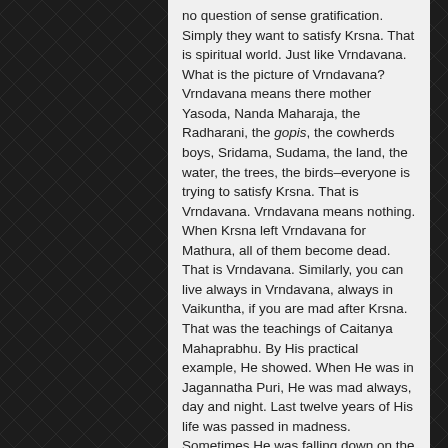no question of sense gratification. Simply they want to satisfy Krsna. That is spiritual world. Just like Vrndavana. What is the picture of Vrndavana? Vrndavana means there mother Yasoda, Nanda Maharaja, the Radharani, the gopis, the cowherds boys, Sridama, Sudama, the land, the water, the trees, the birds–everyone is trying to satisfy Krsna. That is Vrndavana. Vrndavana means nothing. When Krsna left Vrndavana for Mathura, all of them become dead. That is Vrndavana. Similarly, you can live always in Vrndavana, always in Vaikuntha, if you are mad after Krsna. That was the teachings of Caitanya Mahaprabhu. By His practical example, He showed. When He was in Jagannatha Puri, He was mad always, day and night. Last twelve years of His life was passed in madness. Sometimes He was falling down on the